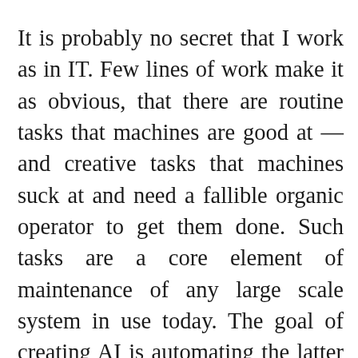It is probably no secret that I work as in IT. Few lines of work make it as obvious, that there are routine tasks that machines are good at — and creative tasks that machines suck at and need a fallible organic operator to get them done. Such tasks are a core element of maintenance of any large scale system in use today. The goal of creating AI is automating the latter in a way that machines can understand the problems and solve them creatively.